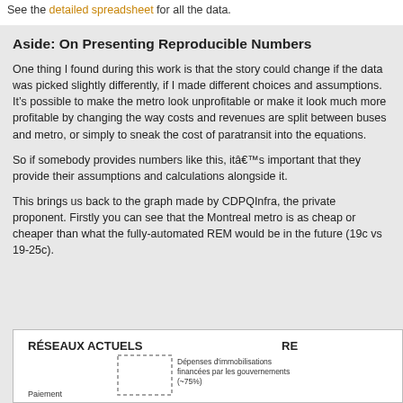See the detailed spreadsheet for all the data.
Aside: On Presenting Reproducible Numbers
One thing I found during this work is that the story could change if the data was picked slightly differently, if I made different choices and assumptions. It’s possible to make the metro look unprofitable or make it look much more profitable by changing the way costs and revenues are split between buses and metro, or simply to sneak the cost of paratransit into the equations.
So if somebody provides numbers like this, it’s important that they provide their assumptions and calculations alongside it.
This brings us back to the graph made by CDPQInfra, the private proponent. Firstly you can see that the Montreal metro is as cheap or cheaper than what the fully-automated REM would be in the future (19c vs 19-25c).
[Figure (other): Partial chart showing RÉSEAUX ACTUELS heading and a dotted rectangle with label 'Paiement' and text 'Dépenses d’immobilisations financées par les gouvernements (~75%)']